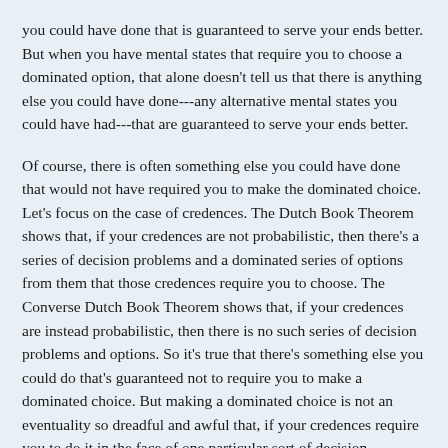you could have done that is guaranteed to serve your ends better. But when you have mental states that require you to choose a dominated option, that alone doesn't tell us that there is anything else you could have done---any alternative mental states you could have had---that are guaranteed to serve your ends better.
Of course, there is often something else you could have done that would not have required you to make the dominated choice. Let's focus on the case of credences. The Dutch Book Theorem shows that, if your credences are not probabilistic, then there's a series of decision problems and a dominated series of options from them that those credences require you to choose. The Converse Dutch Book Theorem shows that, if your credences are instead probabilistic, then there is no such series of decision problems and options. So it's true that there's something else you could do that's guaranteed not to require you to make a dominated choice. But making a dominated choice is not an eventuality so dreadful and awful that, if your credences require you to do it in the face of one particular sort of decision problem, they are automatically irrational, regardless of what they lead you to do in the face of any other decision problem and regardless of how likely it is that you face a decision problem in which they require it of you.